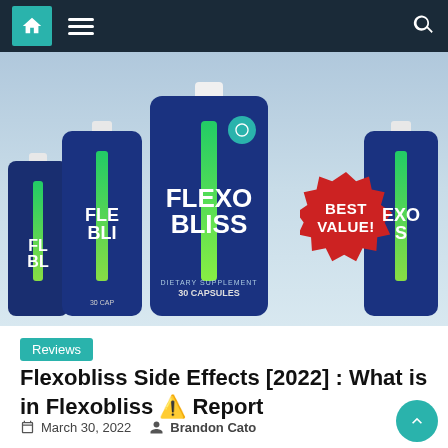Navigation bar with home, menu, and search icons
[Figure (photo): FlexoBliss supplement bottles arranged in a row with a 'BEST VALUE!' red badge]
Reviews
Flexobliss Side Effects [2022] : What is in Flexobliss ⚠ Report
March 30, 2022   Brandon Cato
FlexoBliss Reviews – Is FlexoBliss helps to relieve joint ache rapidly? Is FlexoBliss additionally supply extra power to your joints? Find all the solutions here. Official Website: Click here. What is FlexoBliss? FlexoBliss is an all-natural and secure to